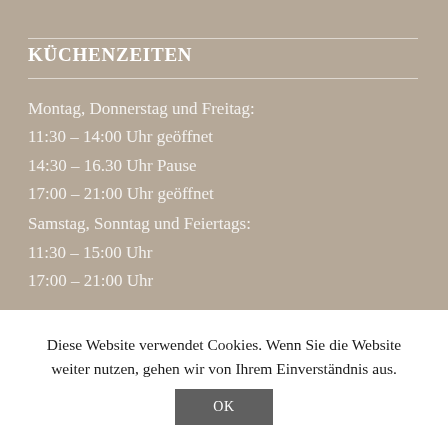KÜCHENZEITEN
Montag, Donnerstag und Freitag:
11:30 – 14:00 Uhr geöffnet
14:30 – 16.30 Uhr Pause
17:00 – 21:00 Uhr geöffnet
Samstag, Sonntag und Feiertags:
11:30 – 15:00 Uhr
17:00 – 21:00 Uhr

Dienstag & Mittwoch:
Ruhetag!
Diese Website verwendet Cookies. Wenn Sie die Website weiter nutzen, gehen wir von Ihrem Einverständnis aus.